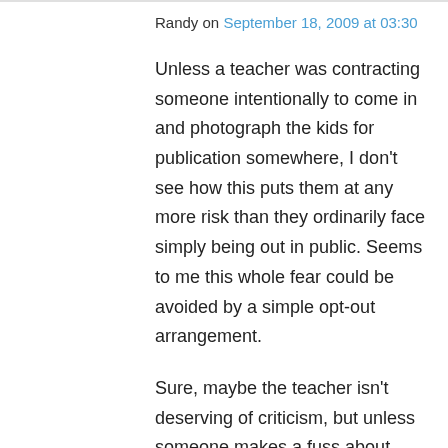Randy on September 18, 2009 at 03:30
Unless a teacher was contracting someone intentionally to come in and photograph the kids for publication somewhere, I don't see how this puts them at any more risk than they ordinarily face simply being out in public. Seems to me this whole fear could be avoided by a simple opt-out arrangement.
Sure, maybe the teacher isn't deserving of criticism, but unless someone makes a fuss about moronic rules they'll never change. If she doesn't have thick enough skin to withstand concerns about an ineffective “security” policy that cost these kids a learning experience, she'd